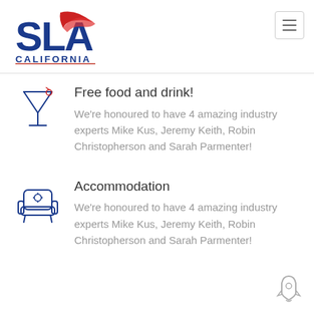[Figure (logo): SLA California logo with red swoosh and blue text]
[Figure (illustration): Hamburger menu icon button]
Free food and drink!
We're honoured to have 4 amazing industry experts Mike Kus, Jeremy Keith, Robin Christopherson and Sarah Parmenter!
Accommodation
We're honoured to have 4 amazing industry experts Mike Kus, Jeremy Keith, Robin Christopherson and Sarah Parmenter!